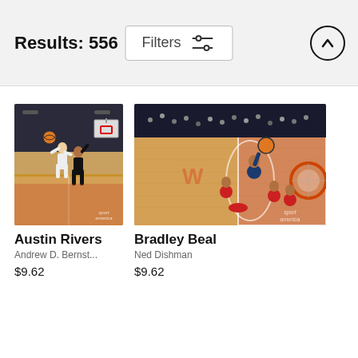Results: 556
Filters
[Figure (photo): NBA basketball action photo: Austin Rivers driving to basket against defender, arena background, Sport America watermark]
Austin Rivers
Andrew D. Bernst...
$9.62
[Figure (photo): NBA basketball aerial action photo: Bradley Beal going up for shot, overhead/wide-angle perspective, Washington Wizards arena, Sport America watermark]
Bradley Beal
Ned Dishman
$9.62